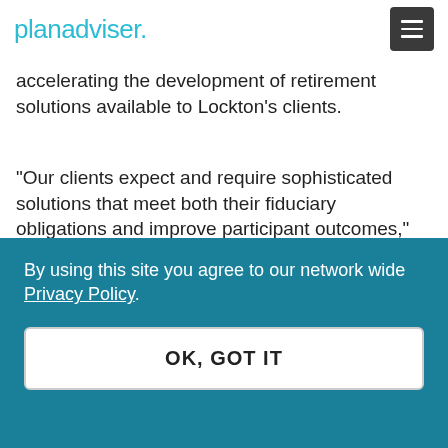planadviser.
accelerating the development of retirement solutions available to Lockton’s clients.
“Our clients expect and require sophisticated solutions that meet both their fiduciary obligations and improve participant outcomes,” says Pam Popp, president of Lockton Retirement Services. “Jamie’s addition to our leadership team ensures
By using this site you agree to our network wide Privacy Policy.
OK, GOT IT